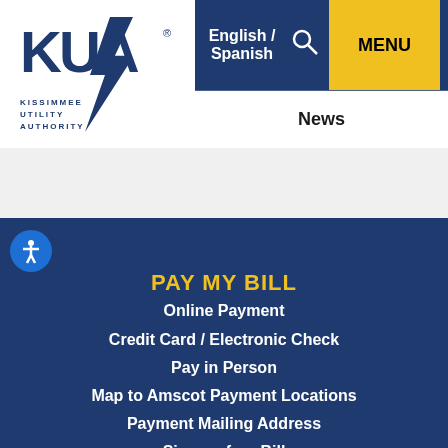[Figure (logo): KUA Kissimmee Utility Authority logo with blue lightning bolt]
English / Spanish | Search | MENU
News
PAY MY BILL
Online Payment
Credit Card / Electronic Check
Pay in Person
Map to Amscot Payment Locations
Payment Mailing Address
Sign up for eBill
Good Neighbor Fund